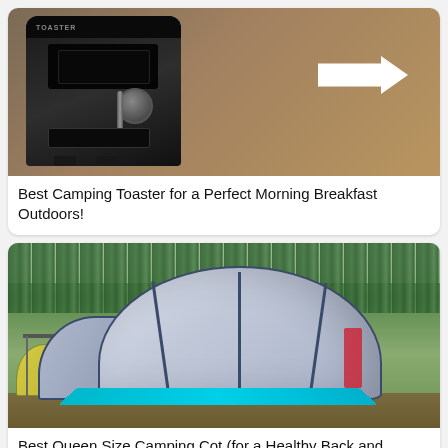[Figure (photo): A black camping toaster photographed against a tan/beige background, with a large white arrow pointing left toward the toaster]
Best Camping Toaster for a Perfect Morning Breakfast Outdoors!
[Figure (photo): A large grey and navy dome tent with a vestibule set up at a campsite surrounded by pine trees, with a teal groundsheet, other tents and a dark vehicle visible in the background]
Best Queen Size Camping Cot (for a Healthy Back and Sleep)